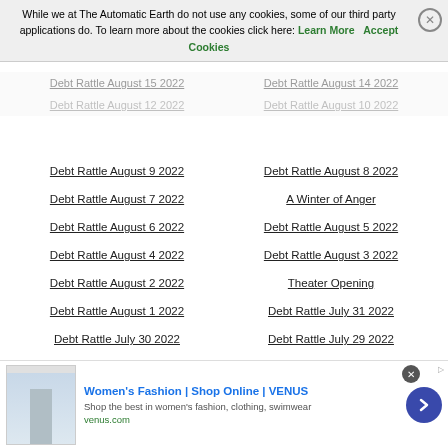While we at The Automatic Earth do not use any cookies, some of our third party applications do. To learn more about the cookies click here: Learn More  Accept Cookies
Debt Rattle August 9 2022
Debt Rattle August 8 2022
Debt Rattle August 7 2022
A Winter of Anger
Debt Rattle August 6 2022
Debt Rattle August 5 2022
Debt Rattle August 4 2022
Debt Rattle August 3 2022
Debt Rattle August 2 2022
Theater Opening
Debt Rattle August 1 2022
Debt Rattle July 31 2022
Debt Rattle July 30 2022
Debt Rattle July 29 2022
Debt Rattle July 28 2022
Debt Rattle July 27 2022
Debt Rattle July 26 2022
Debt Rattle July 25 2022
Debt Rattle July 24 2022
Debt Rattle July 23 2022
[Figure (screenshot): Advertisement banner for Women's Fashion at VENUS - Shop Online]